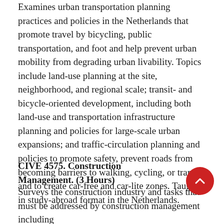Examines urban transportation planning practices and policies in the Netherlands that promote travel by bicycling, public transportation, and foot and help prevent urban mobility from degrading urban livability. Topics include land-use planning at the site, neighborhood, and regional scale; transit- and bicycle-oriented development, including both land-use and transportation infrastructure planning and policies for large-scale urban expansions; and traffic-circulation planning and policies to promote safety, prevent roads from becoming barriers to walking, cycling, or transit, and to create car-free and car-lite zones. Taught in study-abroad format in the Netherlands.
CIVE 4575. Construction Management. (3 Hours)
Surveys the construction industry and tasks that must be addressed by construction management including